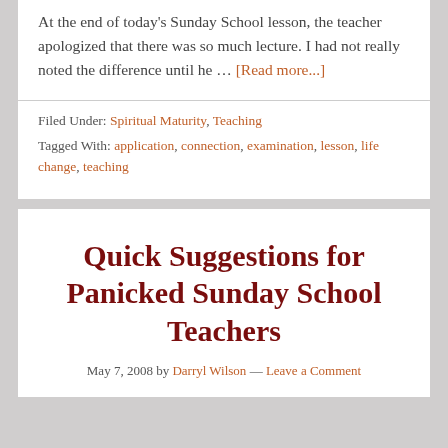At the end of today's Sunday School lesson, the teacher apologized that there was so much lecture. I had not really noted the difference until he … [Read more...]
Filed Under: Spiritual Maturity, Teaching
Tagged With: application, connection, examination, lesson, life change, teaching
Quick Suggestions for Panicked Sunday School Teachers
May 7, 2008 by Darryl Wilson — Leave a Comment